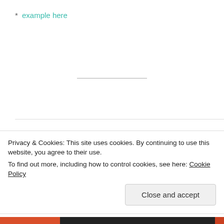* example here
Christians Don’t Lie
OCTOBER 13, 2016 / LEAVE A COMMENT
Privacy & Cookies: This site uses cookies. By continuing to use this website, you agree to their use.
To find out more, including how to control cookies, see here: Cookie Policy
Close and accept